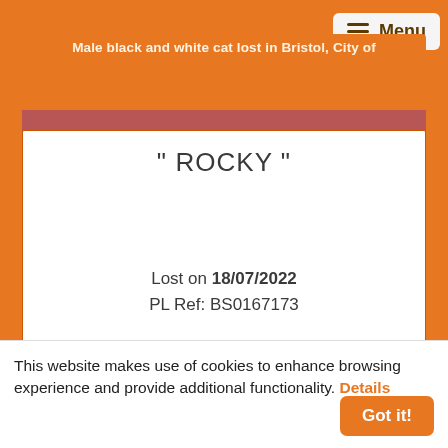Male black and white cat lost in Bristol, City of
" ROCKY "
Lost on 18/07/2022
PL Ref: BS0167173
This website makes use of cookies to enhance browsing experience and provide additional functionality. Details
Got it!